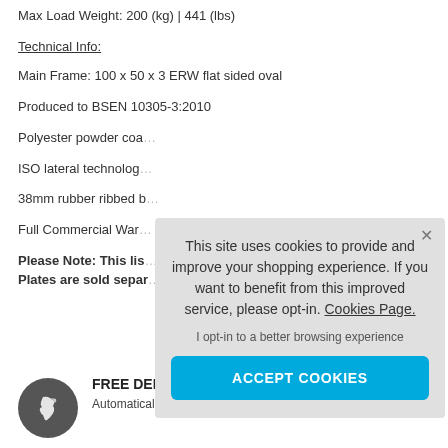Max Load Weight: 200 (kg) | 441 (lbs)
Technical Info:
Main Frame: 100 x 50 x 3 ERW flat sided oval
Produced to BSEN 10305-3:2010
Polyester powder coa…
ISO lateral technolog…
38mm rubber ribbed b…
Full Commercial War…
Please Note: This lis… Plates are sold separ…
[Figure (infographic): Cookie consent overlay on grey background with close X button, main message about cookies, opt-in text, and ACCEPT COOKIES button in blue]
[Figure (illustration): Dark grey circular icon with white UK map silhouette]
FREE DELIVERY WHEN YOU SPEND £499
Automatically applied when you checkout. Restrictions apply.